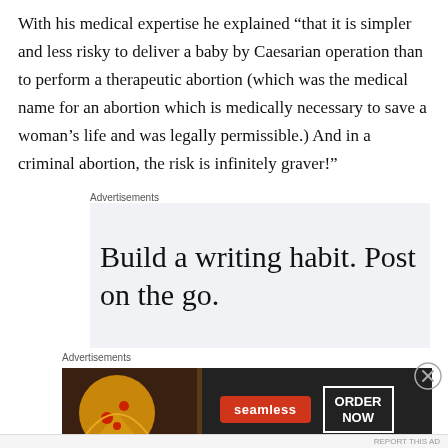With his medical expertise he explained “that it is simpler and less risky to deliver a baby by Caesarian operation than to perform a therapeutic abortion (which was the medical name for an abortion which is medically necessary to save a woman’s life and was legally permissible.) And in a criminal abortion, the risk is infinitely graver!”
Advertisements
[Figure (screenshot): Advertisement box with light grey background showing text: Build a writing habit. Post on the go.]
[Figure (screenshot): Advertisement for Seamless food delivery showing pizza image, Seamless red badge logo, and ORDER NOW button on dark background]
Advertisements